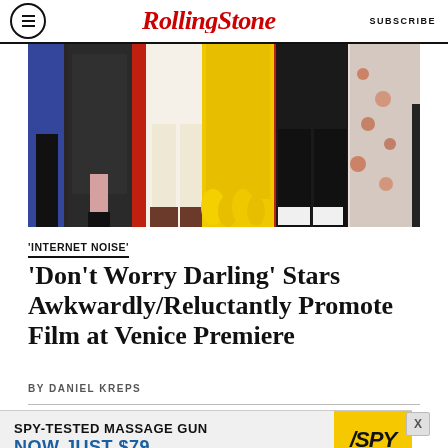Rolling Stone  SUBSCRIBE
[Figure (photo): Red carpet photo showing legs and outfits of several people standing on a red carpet at what appears to be a film premiere. Outfits visible include a sparkly black gown, white pants, a yellow feathered gown, black wide-leg trousers, and a floral patterned outfit.]
'INTERNET NOISE'
‘Don’t Worry Darling’ Stars Awkwardly/Reluctantly Promote Film at Venice Premiere
BY DANIEL KREPS
[Figure (screenshot): Advertisement banner: SPY-TESTED MASSAGE GUN NOW JUST $79 with SPY logo on yellow background]